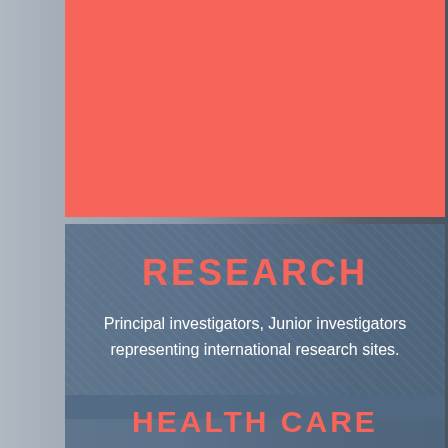[Figure (photo): Background photograph of medical/research equipment and microphone, dark gray and blue tones]
[Figure (illustration): Coral/salmon red rectangular block covering upper left portion of the page]
RESEARCH
Principal investigators, Junior investigators representing international research sites.
HEALTH CARE